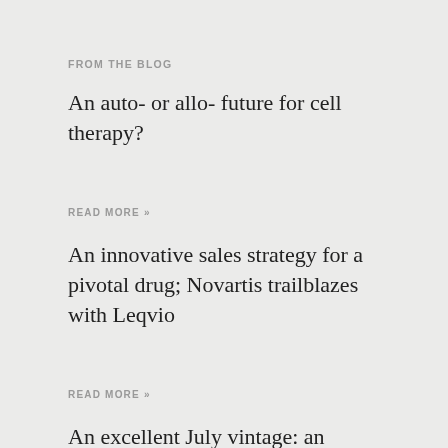FROM THE BLOG
An auto- or allo- future for cell therapy?
READ MORE »
An innovative sales strategy for a pivotal drug; Novartis trailblazes with Leqvio
READ MORE »
An excellent July vintage: an opinionated take on NEJM highlights for July 2023...